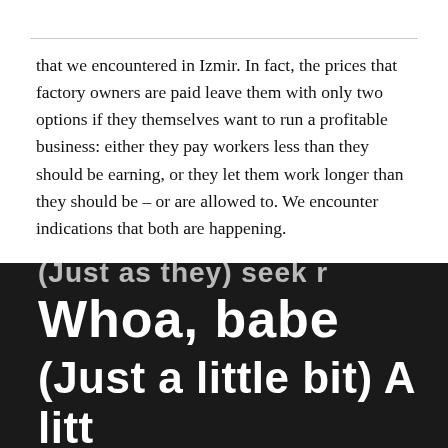that we encountered in Izmir. In fact, the prices that factory owners are paid leave them with only two options if they themselves want to run a profitable business: either they pay workers less than they should be earning, or they let them work longer than they should be – or are allowed to. We encounter indications that both are happening.
[Figure (photo): Close-up photo of dark/black fabric with white bold printed text. Partially visible top line reads '(Just as they) seek r', second line reads 'Whoa, babe', third line reads '(Just a little bit) A litt']